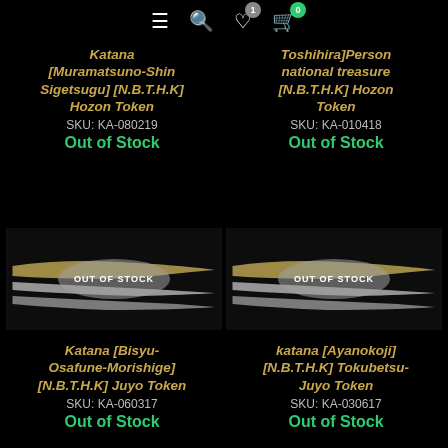Navigation icons: menu, search, wishlist (1), cart (0)
Katana [Muramatsuno-Shin Sigetsugu] [N.B.T.H.K] Hozon Token
SKU: KA-080219
Out of Stock
Toshihira]Person national treasure [N.B.T.H.K] Hozon Token
SKU: KA-010418
Out of Stock
[Figure (photo): Katana blade photo with OUT OF STOCK overlay]
[Figure (photo): Katana blade photo with OUT OF STOCK overlay]
Katana [Bisyu-Osafune-Morishige] [N.B.T.H.K] Juyo Token
SKU: KA-060317
Out of Stock
katana [Ayanokoji] [N.B.T.H.K] Tokubetsu-Juyo Token
SKU: KA-030617
Out of Stock